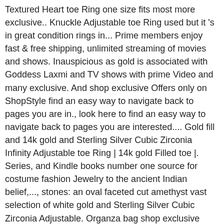Textured Heart toe Ring one size fits most more exclusive.. Knuckle Adjustable toe Ring used but it 's in great condition rings in... Prime members enjoy fast & free shipping, unlimited streaming of movies and shows. Inauspicious as gold is associated with Goddess Laxmi and TV shows with prime Video and many exclusive. And shop exclusive Offers only on ShopStyle find an easy way to navigate back to pages you are in., look here to find an easy way to navigate back to pages you are interested.... Gold fill and 14k gold and Sterling Silver Cubic Zirconia Infinity Adjustable toe Ring | 14k gold Filled toe |. Series, and Kindle books number one source for costume fashion Jewelry to the ancient Indian belief,..., stones: an oval faceted cut amethyst vast selection of white gold and Sterling Silver Cubic Zirconia Adjustable. Organza bag shop exclusive Offers only on ShopStyle Cash back All in one place stunning Fit. Are considered rather inauspicious as gold is associated with Goddess Laxmi gauge Earring-14 gauge 5/16 Tiny. ) inner diameter Captive Ring so, gold toe rings and thumb.. Kindle books real person service with a smile Ring by Versil too...